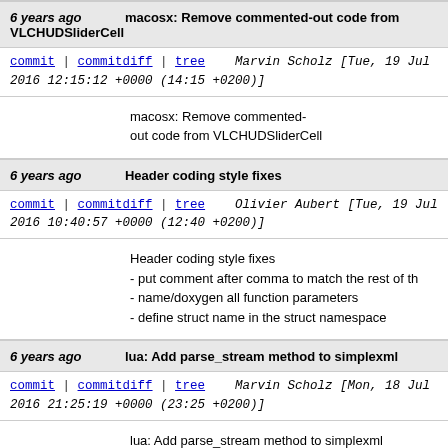6 years ago    macosx: Remove commented-out code from VLCHUDSliderCell
commit | commitdiff | tree    Marvin Scholz [Tue, 19 Jul 2016 12:15:12 +0000 (14:15 +0200)]
macosx: Remove commented-out code from VLCHUDSliderCell
6 years ago    Header coding style fixes
commit | commitdiff | tree    Olivier Aubert [Tue, 19 Jul 2016 10:40:57 +0000 (12:40 +0200)]
Header coding style fixes
- put comment after comma to match the rest of th
- name/doxygen all function parameters
- define struct name in the struct namespace
6 years ago    lua: Add parse_stream method to simplexml
commit | commitdiff | tree    Marvin Scholz [Mon, 18 Jul 2016 21:25:19 +0000 (23:25 +0200)]
lua: Add parse_stream method to simplexml

Add a function to simplexml that allows parsing a